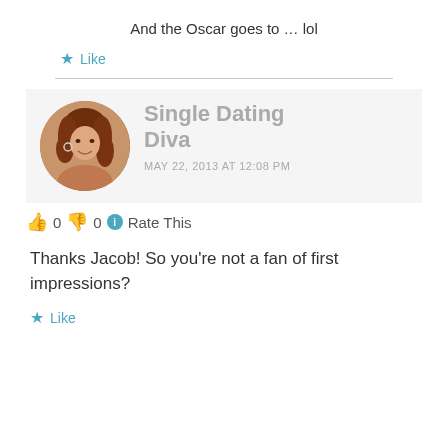And the Oscar goes to … lol
★ Like
[Figure (photo): Circular profile photo of a woman with curly brown hair]
Single Dating Diva
MAY 22, 2013 AT 12:08 PM
👍 0 👎 0 ℹ Rate This
Thanks Jacob! So you're not a fan of first impressions?
★ Like